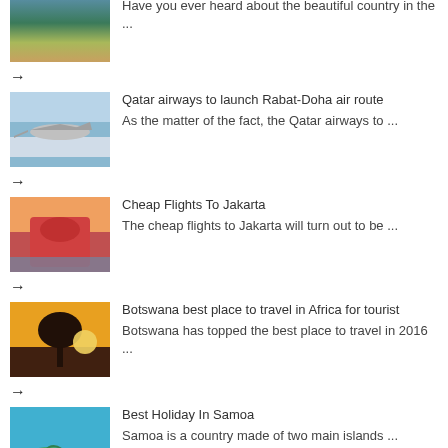[Figure (photo): Mountain lake landscape thumbnail]
Have you ever heard about the beautiful country in the ...
→
Qatar airways to launch Rabat-Doha air route
[Figure (photo): Airplane in sky thumbnail]
As the matter of the fact, the Qatar airways to ...
→
Cheap Flights To Jakarta
[Figure (photo): Jakarta pink building thumbnail]
The cheap flights to Jakarta will turn out to be ...
→
Botswana best place to travel in Africa for tourist
[Figure (photo): Botswana baobab tree at sunset thumbnail]
Botswana has topped the best place to travel in 2016 ...
→
Best Holiday In Samoa
[Figure (photo): Samoa island beach thumbnail]
Samoa is a country made of two main islands ...